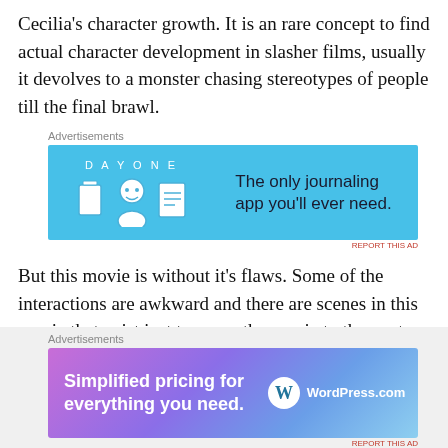Cecilia's character growth. It is an rare concept to find actual character development in slasher films, usually it devolves to a monster chasing stereotypes of people till the final brawl.
[Figure (infographic): Day One journaling app advertisement banner on light blue background. Left side shows 'DAY ONE' text with three icons (door, person, notepad). Right side reads 'The only journaling app you'll ever need.']
But this movie is without it's flaws. Some of the interactions are awkward and there are scenes in this movie that exist just to move the movie to the next plot point. The story isn't incredibly original and some of the science and logic are thrown out the window in order to make the plot work. But
[Figure (infographic): WordPress.com advertisement banner with gradient purple-to-blue background. Left reads 'Simplified pricing for everything you need.' Right shows WordPress.com logo.]